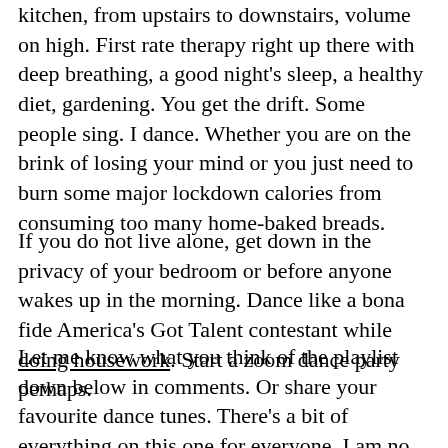kitchen, from upstairs to downstairs, volume on high. First rate therapy right up there with deep breathing, a good night's sleep, a healthy diet, gardening. You get the drift. Some people sing. I dance. Whether you are on the brink of losing your mind or you just need to burn some major lockdown calories from consuming too many home-baked breads.
If you do not live alone, get down in the privacy of your bedroom or before anyone wakes up in the morning. Dance like a bona fide America's Got Talent contestant while doing housework. Start a zoom dance party perhaps.
Let me know what you think of the playlist down below in comments. Or share your favourite dance tunes. There's a bit of everything on this one for everyone. I am no DJ so don't expect the sequencing to flow